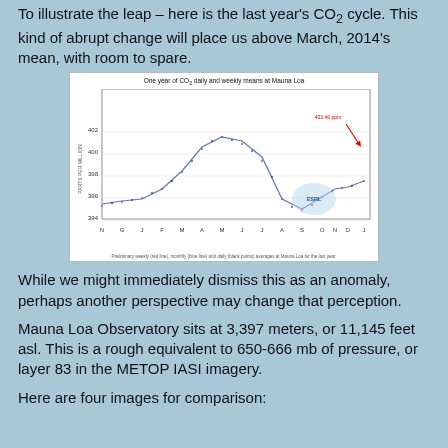To illustrate the leap – here is the last year's CO2 cycle. This kind of abrupt change will place us above March, 2014's mean, with room to spare.
[Figure (continuous-plot): Line chart showing one year of CO2 daily and weekly means at Mauna Loa Observatory. The y-axis shows parts per million ranging from 394 to 402. The x-axis shows months from N through J. The curve peaks around May at about 402 ppm and dips to about 395 in September. A red arrow points to 403.46 ppm annotation in upper right. NOAA logo visible in lower right area.]
While we might immediately dismiss this as an anomaly, perhaps another perspective may change that perception.
Mauna Loa Observatory sits at 3,397 meters, or 11,145 feet asl. This is a rough equivalent to 650-666 mb of pressure, or layer 83 in the METOP IASI imagery.
Here are four images for comparison: